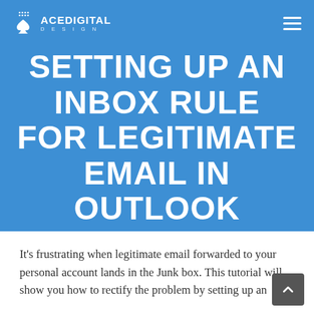ACEDIGITAL DESIGN
SETTING UP AN INBOX RULE FOR LEGITIMATE EMAIL IN OUTLOOK
JUNE 15, 2017 | IN TUTORIALS | BY RICHARD
It's frustrating when legitimate email forwarded to your personal account lands in the Junk box. This tutorial will show you how to rectify the problem by setting up an